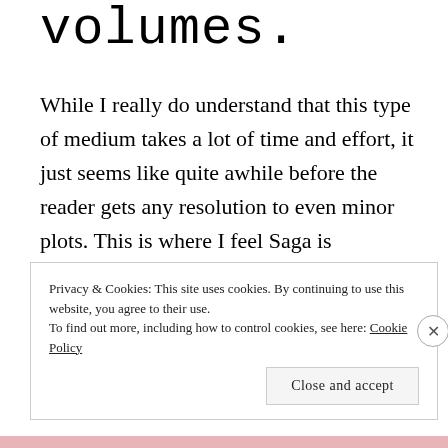volumes.
While I really do understand that this type of medium takes a lot of time and effort, it just seems like quite awhile before the reader gets any resolution to even minor plots. This is where I feel Saga is hindered. Each volume is really only around 150 pages, and there’s just really not a lot you can do in that amount space while also maintaining even pacing.
Privacy & Cookies: This site uses cookies. By continuing to use this website, you agree to their use.
To find out more, including how to control cookies, see here: Cookie Policy
Close and accept